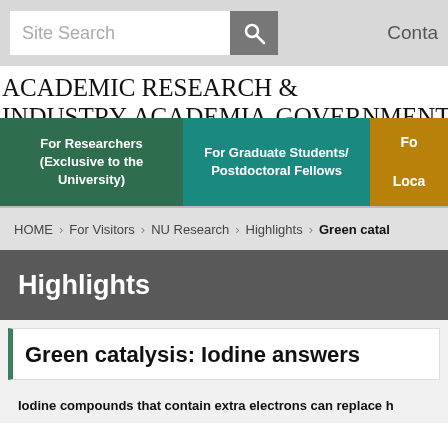Site Search | Contact
ACADEMIC RESEARCH & INDUSTRY-ACADEMIA-GOVERNMENT COLLAB
[Figure (infographic): Navigation blocks: For Researchers (Exclusive to the University) [green], For Graduate Students/ Postdoctoral Fellows [teal], For [gold - partially visible with Loca...]]
HOME > For Visitors > NU Research > Highlights > Green catal...
Highlights
Green catalysis: Iodine answers
Iodine compounds that contain extra electrons can replace h...